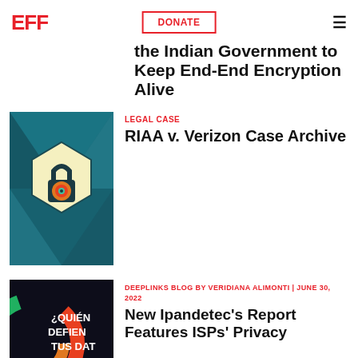EFF | DONATE
the Indian Government to Keep End-End Encryption Alive
LEGAL CASE
RIAA v. Verizon Case Archive
[Figure (illustration): Lock icon on teal geometric hexagon background]
DEEPLINKS BLOG BY VERIDIANA ALIMONTI | JUNE 30, 2022
New Ipandetec's Report Features ISPs' Privacy
[Figure (photo): ¿Quién Defiende Tus Datos? colorful graphic on dark background]